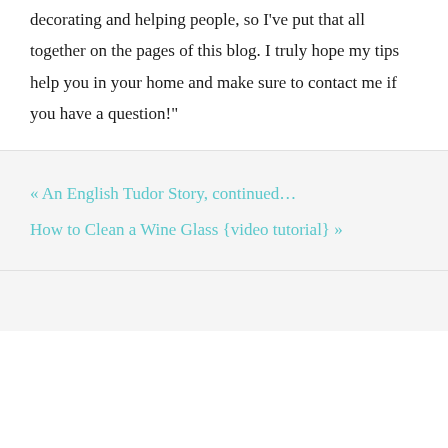decorating and helping people, so I've put that all together on the pages of this blog. I truly hope my tips help you in your home and make sure to contact me if you have a question!"
« An English Tudor Story, continued…
How to Clean a Wine Glass {video tutorial} »